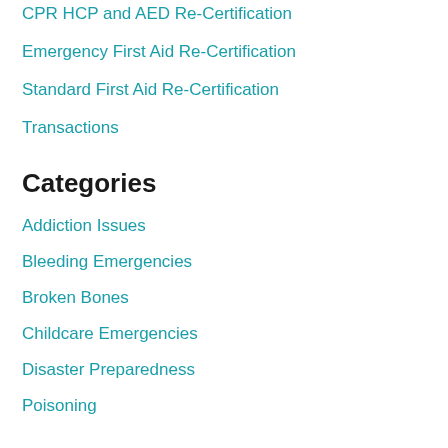CPR HCP and AED Re-Certification
Emergency First Aid Re-Certification
Standard First Aid Re-Certification
Transactions
Categories
Addiction Issues
Bleeding Emergencies
Broken Bones
Childcare Emergencies
Disaster Preparedness
Poisoning
Respiratory Issues
Skin disease first aid